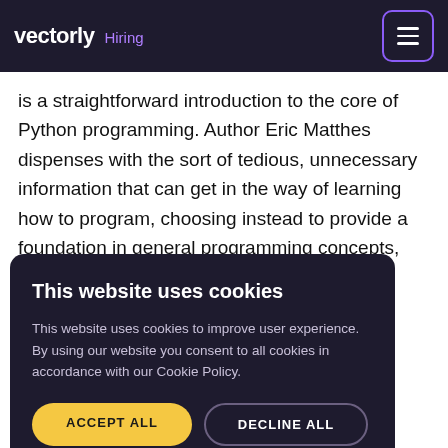vectorly Hiring
is a straightforward introduction to the core of Python programming. Author Eric Matthes dispenses with the sort of tedious, unnecessary information that can get in the way of learning how to program, choosing instead to provide a foundation in general programming concepts, Python fundamentals, and problem solving. Three real-world readers to eo game, use and charts, and on. Python the essentials ical programs ues.
This website uses cookies
This website uses cookies to improve user experience. By using our website you consent to all cookies in accordance with our Cookie Policy.
ACCEPT ALL   DECLINE ALL
SHOW DETAILS